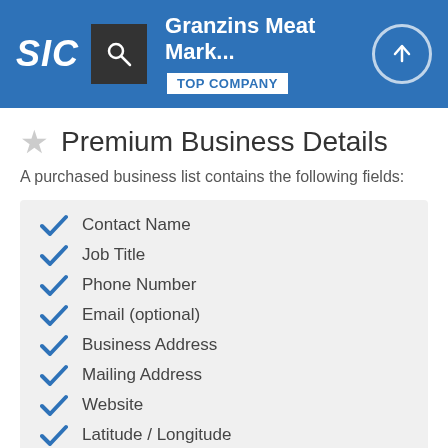Granzins Meat Mark... TOP COMPANY
Premium Business Details
A purchased business list contains the following fields:
Contact Name
Job Title
Phone Number
Email (optional)
Business Address
Mailing Address
Website
Latitude / Longitude
Modeled Credit Rating
Square Footage
Public / Private